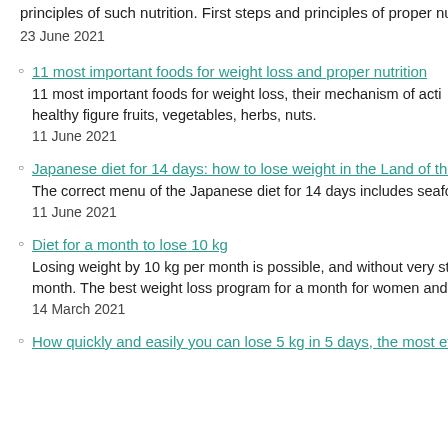principles of such nutrition. First steps and principles of proper nu
23 June 2021
11 most important foods for weight loss and proper nutrition
11 most important foods for weight loss, their mechanism of acti... healthy figure fruits, vegetables, herbs, nuts.
11 June 2021
Japanese diet for 14 days: how to lose weight in the Land of the R
The correct menu of the Japanese diet for 14 days includes seafo...
11 June 2021
Diet for a month to lose 10 kg
Losing weight by 10 kg per month is possible, and without very st... month. The best weight loss program for a month for women and
14 March 2021
How quickly and easily you can lose 5 kg in 5 days, the most effec